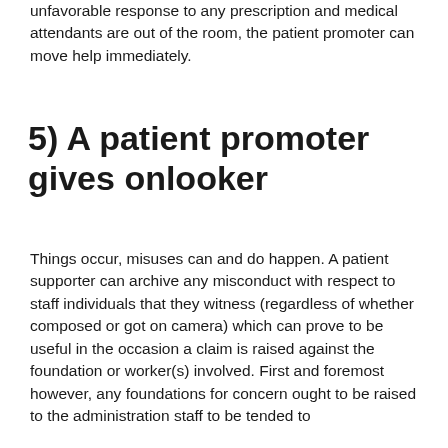unfavorable response to any prescription and medical attendants are out of the room, the patient promoter can move help immediately.
5) A patient promoter gives onlooker
Things occur, misuses can and do happen. A patient supporter can archive any misconduct with respect to staff individuals that they witness (regardless of whether composed or got on camera) which can prove to be useful in the occasion a claim is raised against the foundation or worker(s) involved. First and foremost however, any foundations for concern ought to be raised to the administration staff to be tended to